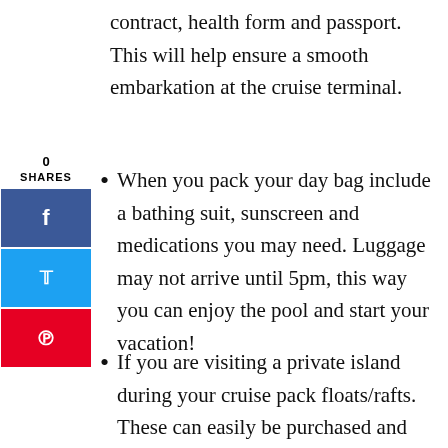contract, health form and passport. This will help ensure a smooth embarkation at the cruise terminal.
When you pack your day bag include a bathing suit, sunscreen and medications you may need. Luggage may not arrive until 5pm, this way you can enjoy the pool and start your vacation!
If you are visiting a private island during your cruise pack floats/rafts. These can easily be purchased and